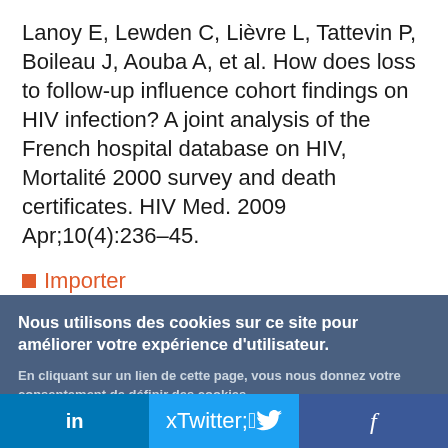Lanoy E, Lewden C, Lièvre L, Tattevin P, Boileau J, Aouba A, et al. How does loss to follow-up influence cohort findings on HIV infection? A joint analysis of the French hospital database on HIV, Mortalité 2000 survey and death certificates. HIV Med. 2009 Apr;10(4):236–45.
■ Importer
Nous utilisons des cookies sur ce site pour améliorer votre expérience d'utilisateur.
En cliquant sur un lien de cette page, vous nous donnez votre consentement de définir des cookies.
Oui, je suis d'accord
Plus d'infos
in  🐦  f